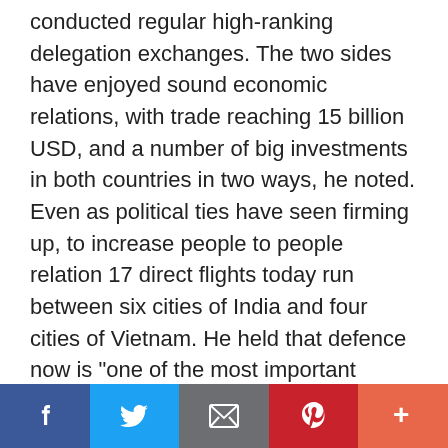conducted regular high-ranking delegation exchanges. The two sides have enjoyed sound economic relations, with trade reaching 15 billion USD, and a number of big investments in both countries in two ways, he noted. Even as political ties have seen firming up, to increase people to people relation 17 direct flights today run between six cities of India and four cities of Vietnam. He held that defence now is "one of the most important pillars" of ties with India which "reflects a very high level of mutual strategic trust." The comments come even as defense engagement has seen many fold increase, including high level exchanges. Vietnam and India have seen
Facebook | Twitter | Email | Pinterest | More